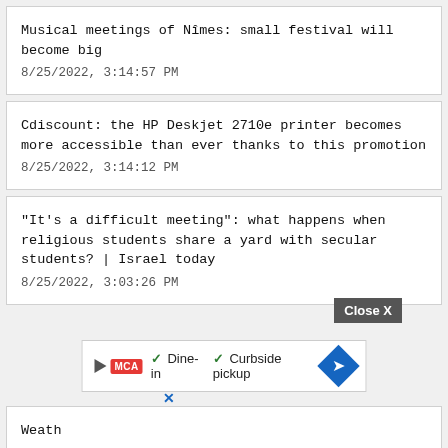Musical meetings of Nîmes: small festival will become big
8/25/2022, 3:14:57 PM
Cdiscount: the HP Deskjet 2710e printer becomes more accessible than ever thanks to this promotion
8/25/2022, 3:14:12 PM
"It's a difficult meeting": what happens when religious students share a yard with secular students? | Israel today
8/25/2022, 3:03:26 PM
[Figure (screenshot): Ad bar showing a play button triangle, MCA logo in red, checkmarks for Dine-in and Curbside pickup, and a blue diamond navigation icon]
Weath